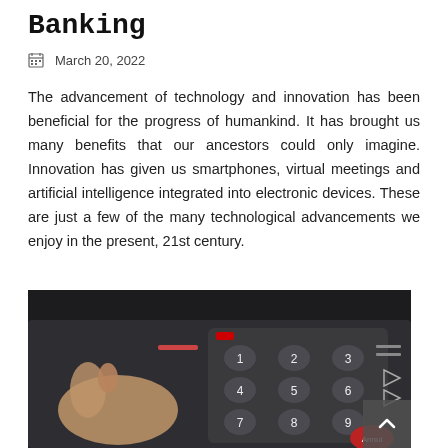Banking
March 20, 2022
The advancement of technology and innovation has been beneficial for the progress of humankind. It has brought us many benefits that our ancestors could only imagine. Innovation has given us smartphones, virtual meetings and artificial intelligence integrated into electronic devices. These are just a few of the many technological advancements we enjoy in the present, 21st century.
[Figure (photo): Close-up photograph of a hand pressing buttons on an ATM or banking keypad device, showing numbered keys (1-9) and other buttons, with a dark background.]